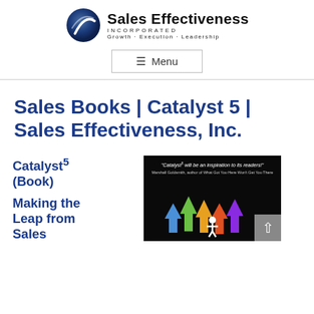[Figure (logo): Sales Effectiveness Incorporated logo with globe/swoosh graphic and text 'Sales Effectiveness INCORPORATED Growth · Execution · Leadership']
≡ Menu
Sales Books | Catalyst 5 | Sales Effectiveness, Inc.
Catalyst5 (Book)
Making the Leap from Salesperson to Sales Manager
[Figure (photo): Book cover for Catalyst5 on black background with colorful chevron arrow shapes and a figure with arms outstretched. Quote: 'Catalyst5 will be an inspiration to its readers!' - Marshall Goldsmith]